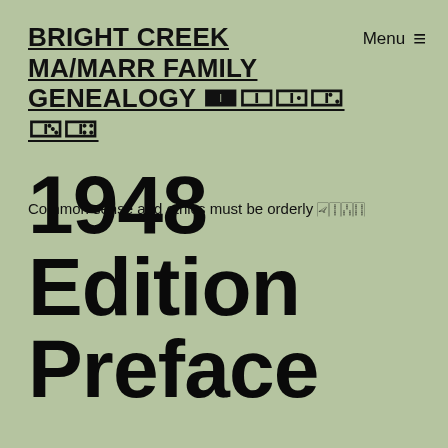BRIGHT CREEK MA/MARR FAMILY GENEALOGY 🀰🀱🀲🀳🀴🀵
Common sense and ethics must be orderly 🀐🀑🀒🀓
Menu ≡
1948 Edition Preface